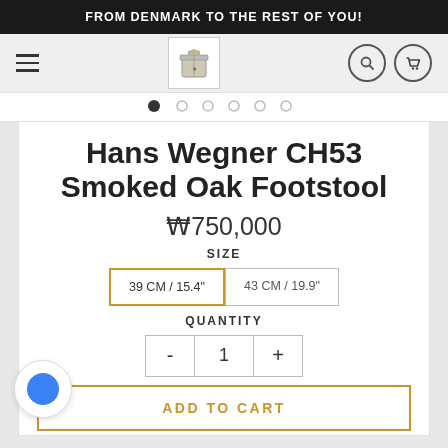FROM DENMARK TO THE REST OF YOU!
[Figure (screenshot): Navigation bar with hamburger menu, logo (illustrated gift box), search icon, and cart icon]
[Figure (other): Carousel navigation dots, first dot active]
Hans Wegner CH53 Smoked Oak Footstool
₩750,000
SIZE
39 CM / 15.4"
43 CM / 19.9"
QUANTITY
- 1 +
ADD TO CART